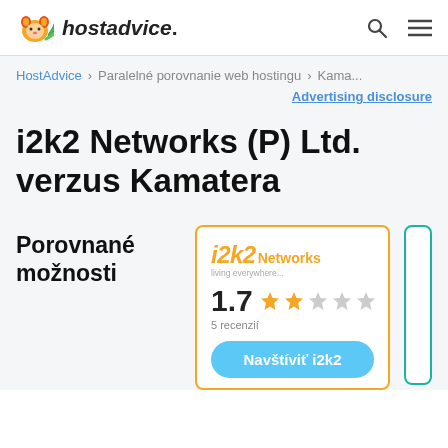hostadvice.
HostAdvice > Paralelné porovnanie web hostingu > Kama...
Advertising disclosure
i2k2 Networks (P) Ltd. verzus Kamatera
Porovnané možnosti
[Figure (other): i2k2 Networks logo with rating 1.7 stars (5 recenzií) and Navštíviť i2k2 button]